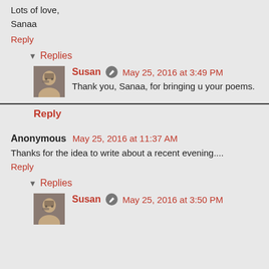Lots of love,
Sanaa
Reply
▼  Replies
Susan  May 25, 2016 at 3:49 PM
Thank you, Sanaa, for bringing u your poems.
Reply
Anonymous  May 25, 2016 at 11:37 AM
Thanks for the idea to write about a recent evening....
Reply
▼  Replies
Susan  May 25, 2016 at 3:50 PM